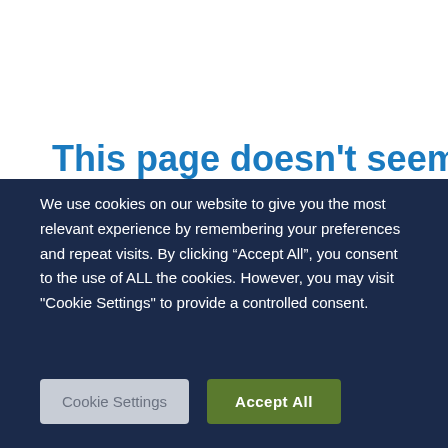This page doesn't seem to
We use cookies on our website to give you the most relevant experience by remembering your preferences and repeat visits. By clicking “Accept All”, you consent to the use of ALL the cookies. However, you may visit "Cookie Settings" to provide a controlled consent.
Cookie Settings
Accept All